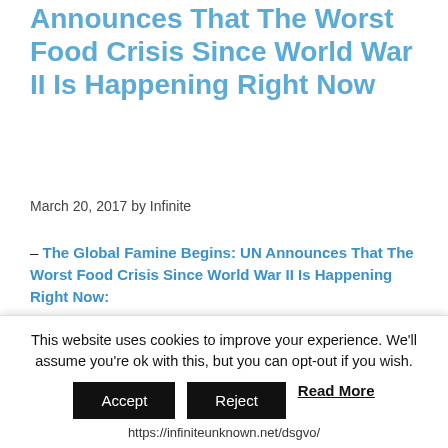Announces That The Worst Food Crisis Since World War II Is Happening Right Now
March 20, 2017 by Infinite
– The Global Famine Begins: UN Announces That The Worst Food Crisis Since World War II Is Happening Right Now:
We always knew that this would start happening.  Earlier this month, I wrote about the severe economic problems that are plaguing South America, but up to this point I have neglected to discuss the
This website uses cookies to improve your experience. We'll assume you're ok with this, but you can opt-out if you wish.
Accept  Reject  Read More
https://infiniteunknown.net/dsgvo/